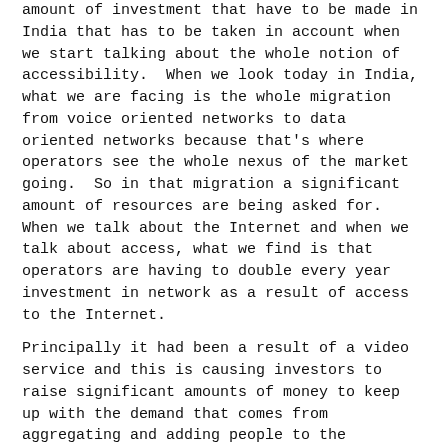amount of investment that have to be made in India that has to be taken in account when we start talking about the whole notion of accessibility.  When we look today in India, what we are facing is the whole migration from voice oriented networks to data oriented networks because that's where operators see the whole nexus of the market going.  So in that migration a significant amount of resources are being asked for.  When we talk about the Internet and when we talk about access, what we find is that operators are having to double every year investment in network as a result of access to the Internet.
Principally it had been a result of a video service and this is causing investors to raise significant amounts of money to keep up with the demand that comes from aggregating and adding people to the Internet.  This is a priority.  The Government of India says we have to penetrate up to the rural areas.  One billion people today have no connection to the Internet and that has to be fixed.  That is the fundamental right that we are dealing with, not just the core question of what is net neutrality, whatever the agreement may be.
Two other points I would like to quickly make is the fact that when we look at our services.
>> MARKUS KUMMER:  You are running out of time.
>> RAJAN MATHEWS:  With regard to those services, we have to